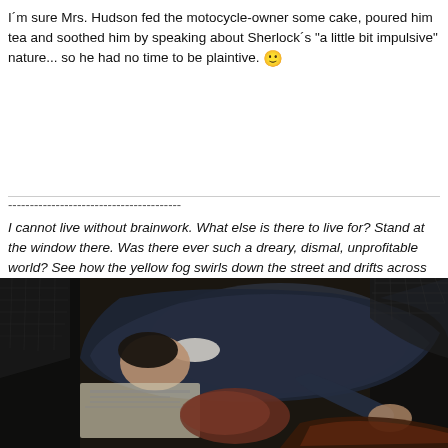I'm sure Mrs. Hudson fed the motocycle-owner some cake, poured him tea and soothed him by speaking about Sherlock's "a little bit impulsive" nature... so he had no time to be plaintive. 🙂
----------------------------------------
I cannot live without brainwork. What else is there to live for? Stand at the window there. Was there ever such a dreary, dismal, unprofitable world? See how the yellow fog swirls down the street and drifts across the dun-coloured houses. What could be more hopelessly prosaic and material? What is the use of having powers, Doctor, when one has no field upon which to exert them?
[Figure (photo): A man in a dark suit lying face-down among newspapers and other objects, photographed from above in dim lighting.]